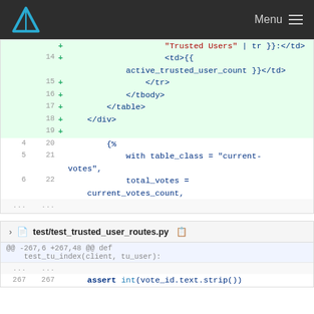Menu
[Figure (screenshot): Code diff view showing HTML template additions (lines 14-19) with green highlighted added lines containing <td>{{ active_trusted_user_count }}</td>, </tr>, </tbody>, </table>, </div>, and a blank line. Below that are context lines 20-22 showing template code with table_class = 'current-votes', and total_votes = current_votes_count.]
[Figure (screenshot): File header for test/test_trusted_user_routes.py and beginning of diff hunk @@ -267,6 +267,48 @@ def test_tu_index(client, tu_user): with context line 267 showing 'assert int(vote_id.text.strip())']